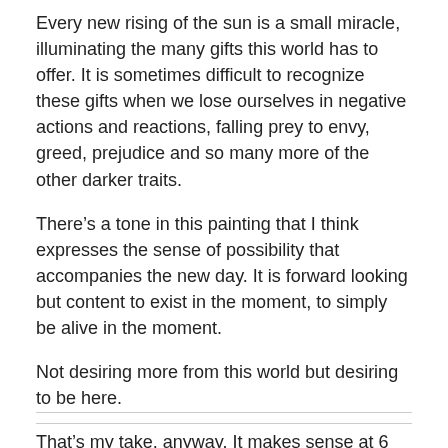Every new rising of the sun is a small miracle, illuminating the many gifts this world has to offer. It is sometimes difficult to recognize these gifts when we lose ourselves in negative actions and reactions, falling prey to envy, greed, prejudice and so many more of the other darker traits.
There’s a tone in this painting that I think expresses the sense of possibility that accompanies the new day. It is forward looking but content to exist in the moment, to simply be alive in the moment.
Not desiring more from this world but desiring to be here.
That’s my take, anyway. It makes sense at 6 AM. We’ll see how it holds up at 6 PM.